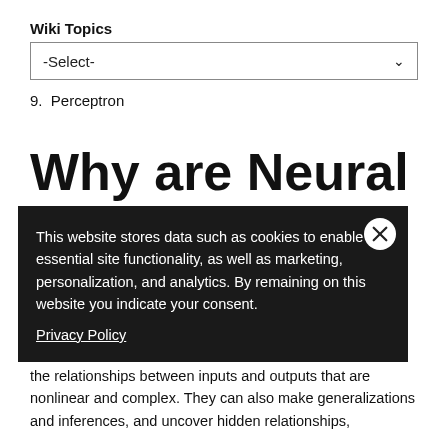Wiki Topics
-Select-
9.  Perceptron
Why are Neural Networks Important?
This website stores data such as cookies to enable essential site functionality, as well as marketing, personalization, and analytics. By remaining on this website you indicate your consent.
Privacy Policy
In recent situations, neural networks can help define some complex problems. As a result, they can learn and model the relationships between inputs and outputs that are nonlinear and complex. They can also make generalizations and inferences, and uncover hidden relationships,